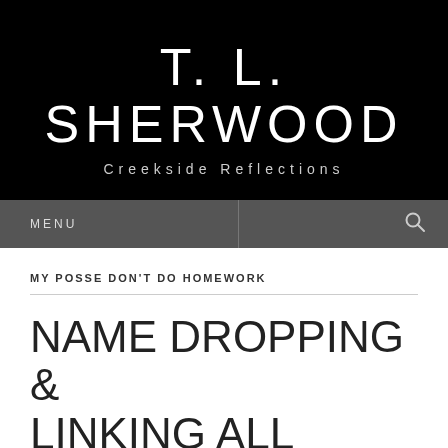T. L. SHERWOOD
Creekside Reflections
MENU
MY POSSE DON'T DO HOMEWORK
NAME DROPPING & LINKING ALL OVER THE PLACE